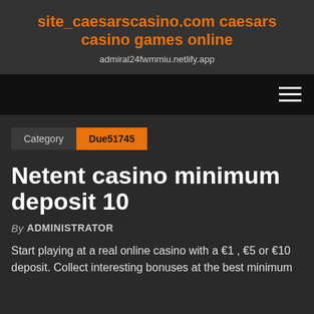site_caesarscasino.com caesars casino games online
admiral24fwmmiu.netlify.app
[Figure (screenshot): Navigation bar with hamburger menu icon on dark background]
Category  Due51745
Netent casino minimum deposit 10
By ADMINISTRATOR
Start playing at a real online casino with a €1 , €5 or €10 deposit. Collect interesting bonuses at the best minimum